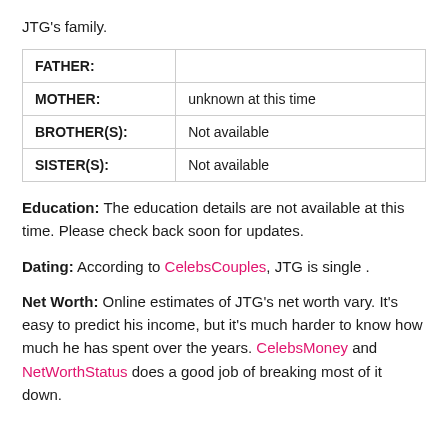JTG's family.
|  |  |
| --- | --- |
| FATHER: |  |
| MOTHER: | unknown at this time |
| BROTHER(S): | Not available |
| SISTER(S): | Not available |
Education: The education details are not available at this time. Please check back soon for updates.
Dating: According to CelebsCouples, JTG is single .
Net Worth: Online estimates of JTG's net worth vary. It's easy to predict his income, but it's much harder to know how much he has spent over the years. CelebsMoney and NetWorthStatus does a good job of breaking most of it down.